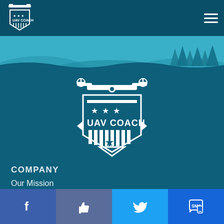UAV Coach navigation header with logo and hamburger menu
[Figure (illustration): Landscape silhouette banner with blue hills, trees, and wave divider]
[Figure (logo): UAV Coach shield logo with drone on top, stars, UAV COACH text, stripes and star at bottom, chevron arrows on sides]
COMPANY
Our Mission
Careers
Meet Our Team
Giving Back
Social media buttons: Facebook, Like/Thumbs up, Twitter, SMS